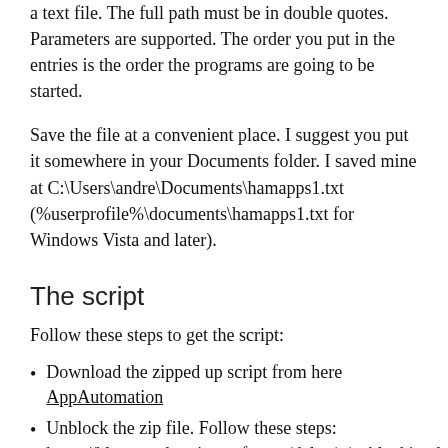a text file. The full path must be in double quotes. Parameters are supported. The order you put in the entries is the order the programs are going to be started.
Save the file at a convenient place. I suggest you put it somewhere in your Documents folder. I saved mine at C:\Users\andre\Documents\hamapps1.txt (%userprofile%\documents\hamapps1.txt for Windows Vista and later).
The script
Follow these steps to get the script:
Download the zipped up script from here AppAutomation
Unblock the zip file. Follow these steps: https://blogs.msdn.microsoft.com/delay/p/unblockingdownloadedfile/.